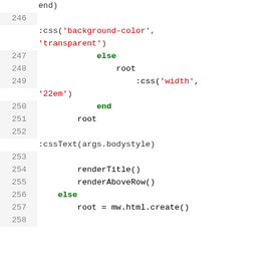Code listing lines 246-258 showing Ruby/template code with :css, :cssText, root, renderTitle, renderAboveRow, else, and mw.html.create() calls